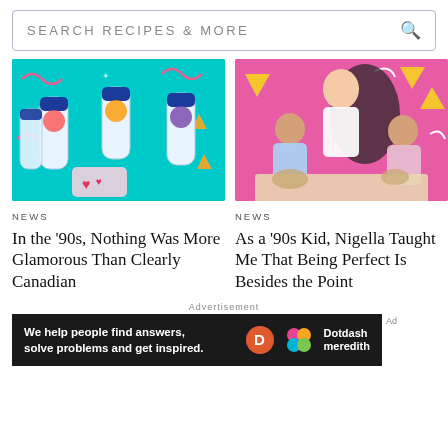SEARCH RECIPES & MORE
[Figure (photo): Teal/turquoise background with Clearly Canadian bottles and hands holding heart shapes]
NEWS
In the '90s, Nothing Was More Glamorous Than Clearly Canadian
[Figure (photo): Pink background with women cooking together, 90s style photo of Nigella Lawson]
NEWS
As a '90s Kid, Nigella Taught Me That Being Perfect Is Besides the Point
Advertisement
[Figure (photo): Dotdash Meredith advertisement banner: We help people find answers, solve problems and get inspired.]
Ad